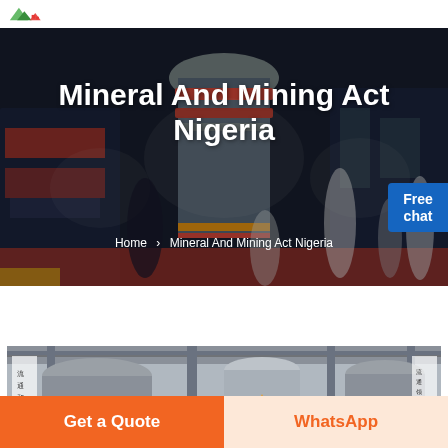[Logo: green/red mountain mining company logo]
[Figure (photo): Industrial mining equipment facility banner image with women figures posed in front, dark atmospheric backdrop with large cylindrical equipment]
Mineral And Mining Act Nigeria
Home > Mineral And Mining Act Nigeria
[Figure (photo): Industrial mining/milling equipment facility interior showing tall cylindrical tanks and structural steel, Chinese text banners visible on sides]
Get a Quote
WhatsApp